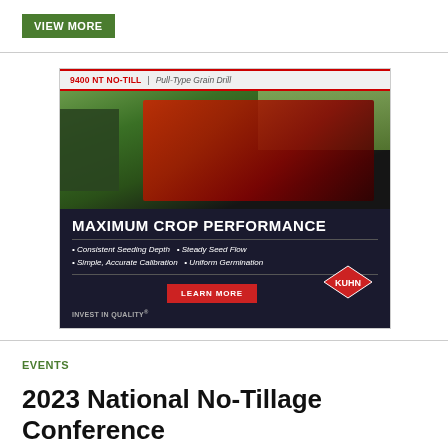VIEW MORE
[Figure (photo): Advertisement for Kuhn 9400 NT NO-TILL Pull-Type Grain Drill showing a red grain drill machine being pulled by a tractor in a field, with marketing text: MAXIMUM CROP PERFORMANCE, Consistent Seeding Depth, Steady Seed Flow, Simple Accurate Calibration, Uniform Germination, LEARN MORE, INVEST IN QUALITY, KUHN logo]
EVENTS
2023 National No-Tillage Conference